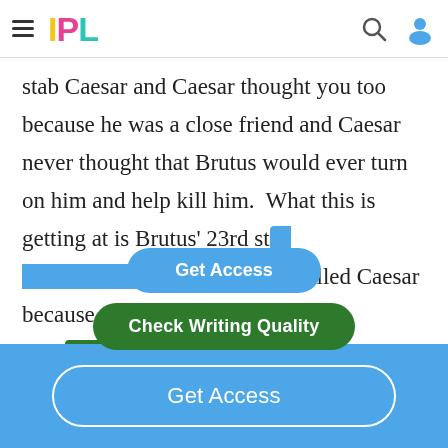IPL
stab Caesar and Caesar thought you too because he was a close friend and Caesar never thought that Brutus would ever turn on him and help kill him.  What this is getting at is Brutus' 23rd stab [obscured] that really killed Caesar because once he knew his closest frie[obscured] dn't take it...
Get Access